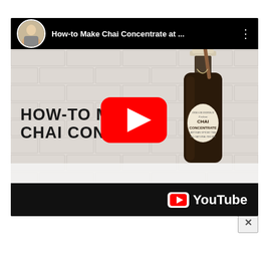[Figure (screenshot): YouTube video thumbnail for 'How-to Make Chai Concentrate at ...' showing a dark glass bottle labeled 'Chai Concentrate' with a cinnamon stick, on a white brick wall background. A large red YouTube play button is centered. The video title text 'HOW-TO MA... / CHAI CONCEN...' appears in bold black. The YouTube logo appears in the bottom bar. A small close (X) button appears below the video player.]